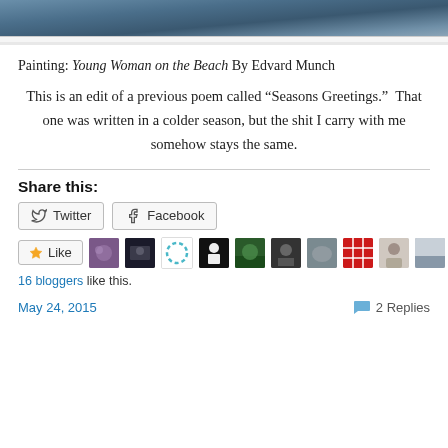[Figure (photo): Top portion of a painting — dark blue textured surface, appears to be sky or water from Edvard Munch's Young Woman on the Beach]
Painting: Young Woman on the Beach By Edvard Munch
This is an edit of a previous poem called “Seasons Greetings.”  That one was written in a colder season, but the shit I carry with me somehow stays the same.
Share this:
Twitter  Facebook
[Figure (screenshot): Like button and 11 blogger avatar thumbnails]
16 bloggers like this.
May 24, 2015    2 Replies